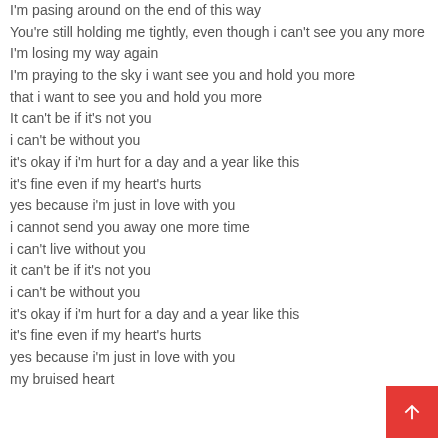I'm pasing around on the end of this way
You're still holding me tightly, even though i can't see you any more
I'm losing my way again
I'm praying to the sky i want see you and hold you more
that i want to see you and hold you more
It can't be if it's not you
i can't be without you
it's okay if i'm hurt for a day and a year like this
it's fine even if my heart's hurts
yes because i'm just in love with you
i cannot send you away one more time
i can't live without you
it can't be if it's not you
i can't be without you
it's okay if i'm hurt for a day and a year like this
it's fine even if my heart's hurts
yes because i'm just in love with you
my bruised heart